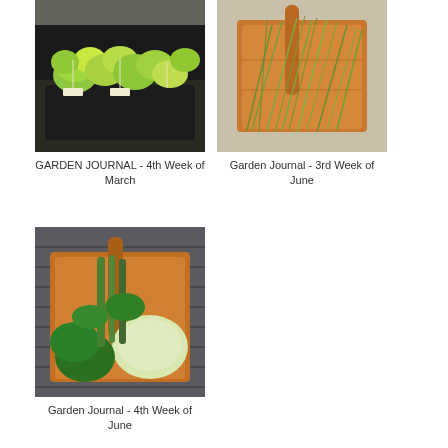[Figure (photo): Seedlings in black trays, green leafy plants indoors]
GARDEN JOURNAL - 4th Week of March
[Figure (photo): Wooden basket filled with long green herb sprigs]
Garden Journal - 3rd Week of June
[Figure (photo): Wooden trug basket with harvested vegetables including cabbage and greens]
Garden Journal - 4th Week of June